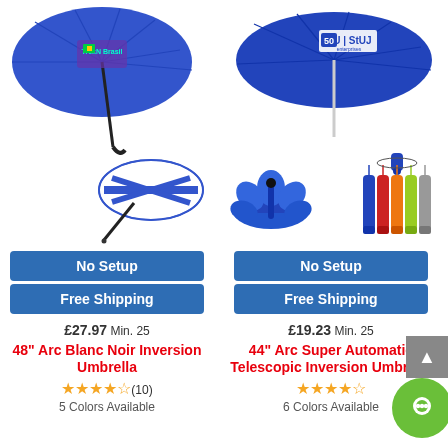[Figure (photo): Blue branded umbrella open view with logo, and same umbrella inverted/closed view below - left product]
No Setup
Free Shipping
£27.97 Min. 25
48" Arc Blanc Noir Inversion Umbrella
★★★★½ (10)
5 Colors Available
[Figure (photo): Blue branded umbrella with company logo open view, folded umbrella mechanism and colorful handles shown - right product]
No Setup
Free Shipping
£19.23 Min. 25
44" Arc Super Automatic Telescopic Inversion Umbrella
★★★★½ (10)
6 Colors Available